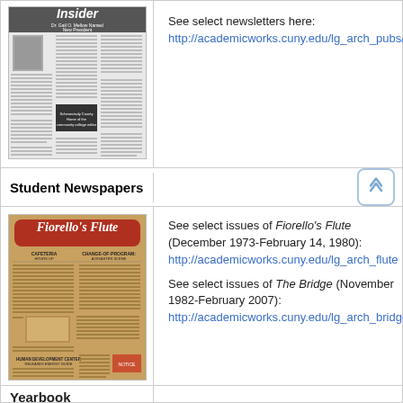[Figure (photo): Thumbnail of 'Insider' newsletter front page showing 'Dr. Gail O. Mellow Named New President' headline]
See select newsletters here:
http://academicworks.cuny.edu/lg_arch_pubs/.
Student Newspapers
[Figure (photo): Thumbnail of 'Fiorello's Flute' student newspaper front page]
See select issues of Fiorello's Flute (December 1973-February 14, 1980):
http://academicworks.cuny.edu/lg_arch_flute

See select issues of The Bridge (November 1982-February 2007):
http://academicworks.cuny.edu/lg_arch_bridge
Yearbook